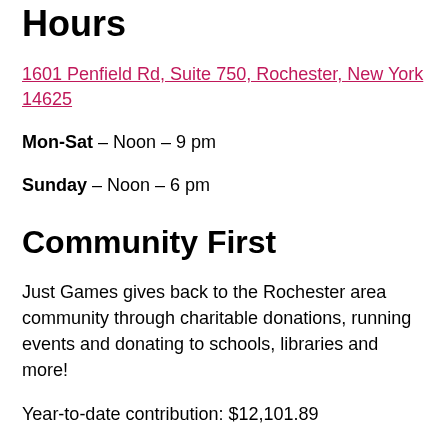Hours
1601 Penfield Rd, Suite 750, Rochester, New York 14625
Mon-Sat – Noon – 9 pm
Sunday – Noon – 6 pm
Community First
Just Games gives back to the Rochester area community through charitable donations, running events and donating to schools, libraries and more!
Year-to-date contribution: $12,101.89
Contact Us